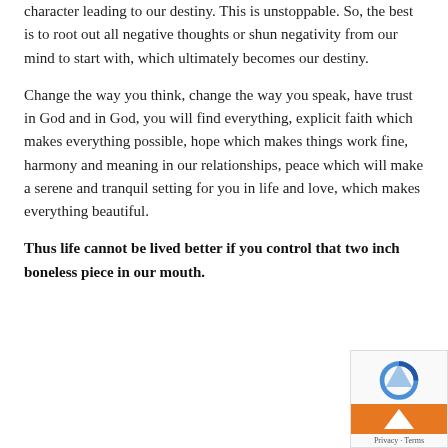character leading to our destiny. This is unstoppable. So, the best is to root out all negative thoughts or shun negativity from our mind to start with, which ultimately becomes our destiny.
Change the way you think, change the way you speak, have trust in God and in God, you will find everything, explicit faith which makes everything possible, hope which makes things work fine, harmony and meaning in our relationships, peace which will make a serene and tranquil setting for you in life and love, which makes everything beautiful.
Thus life cannot be lived better if you control that two inch boneless piece in our mouth.